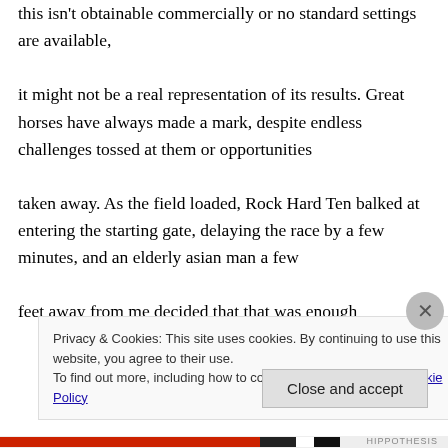this isn't obtainable commercially or no standard settings are available, it might not be a real representation of its results. Great horses have always made a mark, despite endless challenges tossed at them or opportunities taken away. As the field loaded, Rock Hard Ten balked at entering the starting gate, delaying the race by a few minutes, and an elderly asian man a few feet away from me decided that that was enough
Privacy & Cookies: This site uses cookies. By continuing to use this website, you agree to their use. To find out more, including how to control cookies, see here: Cookie Policy
Close and accept